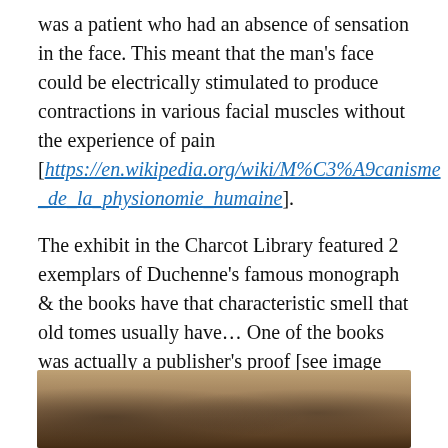was a patient who had an absence of sensation in the face. This meant that the man's face could be electrically stimulated to produce contractions in various facial muscles without the experience of pain [https://en.wikipedia.org/wiki/M%C3%A9canisme_de_la_physionomie_humaine].
The exhibit in the Charcot Library featured 2 exemplars of Duchenne's famous monograph & the books have that characteristic smell that old tomes usually have... One of the books was actually a publisher's proof [see image below], and that was what caused my reaction of awe.
[Figure (photo): Photograph of old books on a wooden surface, partially visible at the bottom of the page]